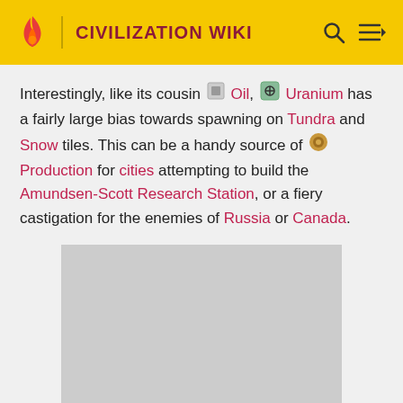CIVILIZATION WIKI
Interestingly, like its cousin 🔲 Oil, ☢ Uranium has a fairly large bias towards spawning on Tundra and Snow tiles. This can be a handy source of 🔩 Production for cities attempting to build the Amundsen-Scott Research Station, or a fiery castigation for the enemies of Russia or Canada.
[Figure (photo): Grey placeholder image rectangle]